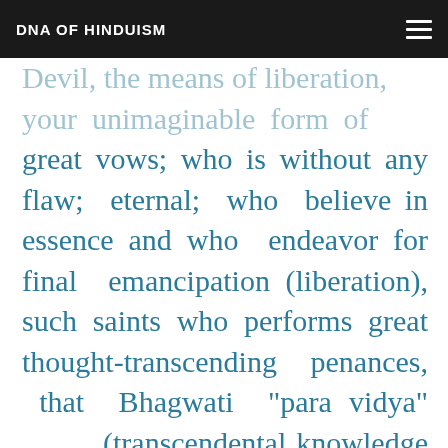DNA OF HINDUISM
Devil, the means of liberation, your unimaginable form of great vows; who is without any flaw; eternal; who believe in essence and who endeavor for final emancipation (liberation), such saints who performs great thought-transcending penances, that Bhagwati “para vidya” (transcendental knowledge or ultimate truth) is you only.
8. You Goddess are the soul